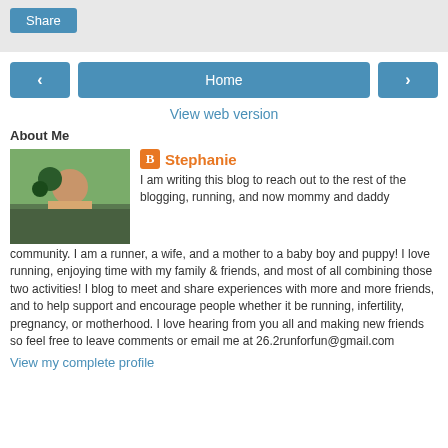[Figure (screenshot): Share button in a grey toolbar at the top]
[Figure (screenshot): Navigation row with left arrow, Home button, and right arrow]
View web version
About Me
[Figure (photo): Profile photo of Stephanie outdoors]
Stephanie
I am writing this blog to reach out to the rest of the blogging, running, and now mommy and daddy community. I am a runner, a wife, and a mother to a baby boy and puppy! I love running, enjoying time with my family & friends, and most of all combining those two activities! I blog to meet and share experiences with more and more friends, and to help support and encourage people whether it be running, infertility, pregnancy, or motherhood. I love hearing from you all and making new friends so feel free to leave comments or email me at 26.2runforfun@gmail.com
View my complete profile